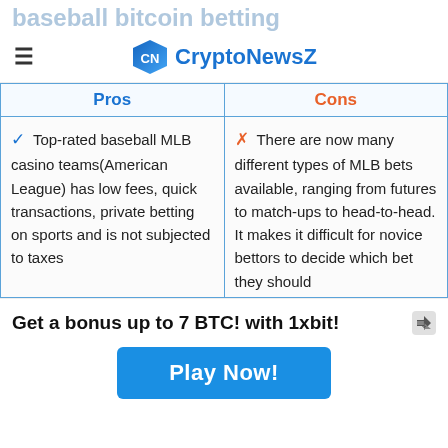Baseball Bitcoin Betting
CryptoNewsZ
| Pros | Cons |
| --- | --- |
| ✓ Top-rated baseball MLB casino teams(American League) has low fees, quick transactions, private betting on sports and is not subjected to taxes | ✗ There are now many different types of MLB bets available, ranging from futures to match-ups to head-to-head. It makes it difficult for novice bettors to decide which bet they should |
Get a bonus up to 7 BTC! with 1xbit!
Play Now!